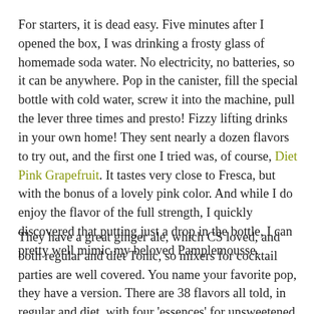For starters, it is dead easy. Five minutes after I opened the box, I was drinking a frosty glass of homemade soda water. No electricity, no batteries, so it can be anywhere. Pop in the canister, fill the special bottle with cold water, screw it into the machine, pull the lever three times and presto! Fizzy lifting drinks in your own home! They sent nearly a dozen flavors to try out, and the first one I tried was, of course, Diet Pink Grapefruit. It tastes very close to Fresca, but with the bonus of a lovely pink color. And while I do enjoy the flavor of the full strength, I quickly discovered that putting just a drop in the bottle, I can pretty well mimic my beloved Pamplemousse.
They have a great ginger ale, which CS loved, and both regular and diet Tonic, so mixers for cocktail parties are well covered. You name your favorite pop, they have a version. There are 38 flavors all told, in regular and diet, with four 'essences' for unsweetened flavored water. Sadly, no